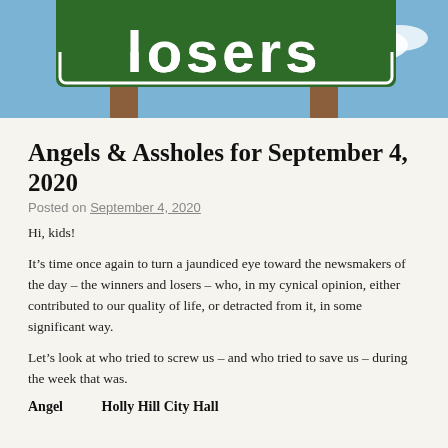[Figure (photo): Partial view of a green road sign reading 'losers' in white text, with wooden posts and blue sky with clouds in the background.]
Angels & Assholes for September 4, 2020
Posted on September 4, 2020
Hi, kids!
It’s time once again to turn a jaundiced eye toward the newsmakers of the day – the winners and losers – who, in my cynical opinion, either contributed to our quality of life, or detracted from it, in some significant way.
Let’s look at who tried to screw us – and who tried to save us – during the week that was.
Angel        Holly Hill City Hall